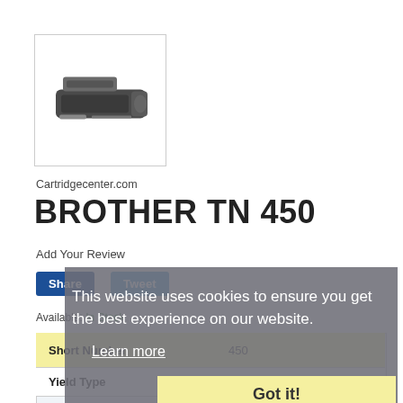[Figure (photo): Toner cartridge product image for Brother TN 450, shown in a white bordered box]
Cartridgecenter.com
BROTHER TN 450
Add Your Review
Share
Tweet
Available: In Stock
| Short Number | 450 |
| --- | --- |
| Yield Type | h/c |
This website uses cookies to ensure you get the best experience on our website.
Learn more
Got it!